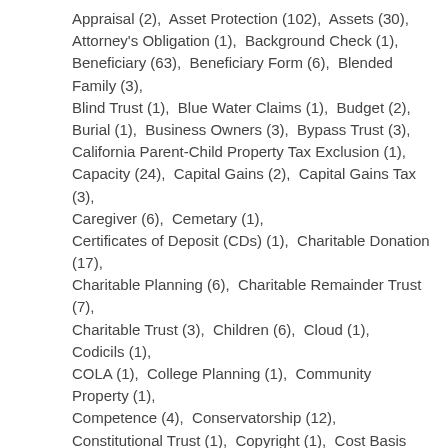Appraisal (2),  Asset Protection (102),  Assets (30),  Attorney's Obligation (1),  Background Check (1),  Beneficiary (63),  Beneficiary Form (6),  Blended Family (3),  Blind Trust (1),  Blue Water Claims (1),  Budget (2),  Burial (1),  Business Owners (3),  Bypass Trust (3),  California Parent-Child Property Tax Exclusion (1),  Capacity (24),  Capital Gains (2),  Capital Gains Tax (3),  Caregiver (6),  Cemetary (1),  Certificates of Deposit (CDs) (1),  Charitable Donation (17),  Charitable Planning (6),  Charitable Remainder Trust (7),  Charitable Trust (3),  Children (6),  Cloud (1),  Codicils (1),  COLA (1),  College Planning (1),  Community Property (1),  Competence (4),  Conservatorship (12),  Constitutional Trust (1),  Copyright (1),  Cost Basis (2),  Court (1),  COVID (2),  Cremation (1),  Cryptocurrency (5),  Current Affairs (2),  Cybercriminals (2),  Death Certificate (5),  Death of a Spouse (9),  Debt (4),  Deed (4),  Dementia (8),  Dental (1),  Depreciation Recapture Tax (1),  Digital Assets (16),  Digital Property (5),  Disability (13),  Disabled Child (4),  Disinherit (1),  Divorce (14),  Do-Not-Resuscitate Order (DNR) (3),  Doctor (1),  Durable Advice Fund (1),  Dun Crossover (1)